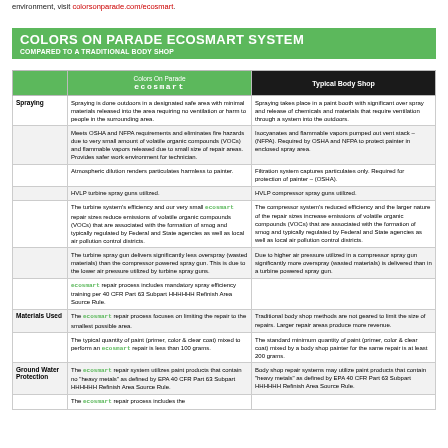environment, visit colorsonparade.com/ecosmart.
COLORS ON PARADE ECOSMART SYSTEM
COMPARED TO A TRADITIONAL BODY SHOP
|  | Colors On Parade ecosmart | Typical Body Shop |
| --- | --- | --- |
| Spraying | Spraying is done outdoors in a designated safe area with minimal materials released into the area requiring no ventilation or harm to people in the surrounding area. | Spraying takes place in a paint booth with significant over spray and release of chemicals and materials that require ventilation through a system into the outdoors. |
|  | Meets OSHA and NFPA requirements and eliminates fire hazards due to very small amount of volatile organic compounds (VOCs) and flammable vapors released due to small size of repair areas. Provides safer work environment for technician. | Isocyanates and flammable vapors pumped out vent stack – (NFPA). Required by OSHA and NFPA to protect painter in enclosed spray area. |
|  | Atmospheric dilution renders particulates harmless to painter. | Filtration system captures particulates only. Required for protection of painter – (OSHA). |
|  | HVLP turbine spray guns utilized. | HVLP compressor spray guns utilized. |
|  | The turbine system's efficiency and our very small ecosmart repair sizes reduce emissions of volatile organic compounds (VOCs) that are associated with the formation of smog and typically regulated by Federal and State agencies as well as local air pollution control districts. | The compressor system's reduced efficiency and the larger nature of the repair sizes increase emissions of volatile organic compounds (VOCs) that are associated with the formation of smog and typically regulated by Federal and State agencies as well as local air pollution control districts. |
|  | The turbine spray gun delivers significantly less overspray (wasted materials) than the compressor powered spray gun. This is due to the lower air pressure utilized by turbine spray guns. | Due to higher air pressure utilized in a compressor spray gun significantly more overspray (wasted materials) is delivered than in a turbine powered spray gun. |
|  | ecosmart repair process includes mandatory spray efficiency training per 40 CFR Part 63 Subpart HHHHHH Refinish Area Source Rule. |  |
| Materials Used | The ecosmart repair process focuses on limiting the repair to the smallest possible area. | Traditional body shop methods are not geared to limit the size of repairs. Larger repair areas produce more revenue. |
|  | The typical quantity of paint (primer, color & clear coat) mixed to perform an ecosmart repair is less than 100 grams. | The standard minimum quantity of paint (primer, color & clear coat) mixed by a body shop painter for the same repair is at least 200 grams. |
| Ground Water Protection | The ecosmart repair system utilizes paint products that contain no 'heavy metals' as defined by EPA 40 CFR Part 63 Subpart HHHHHH Refinish Area Source Rule. | Body shop repair systems may utilize paint products that contain 'heavy metals' as defined by EPA 40 CFR Part 63 Subpart HHHHHH Refinish Area Source Rule. |
|  | The ecosmart repair process includes the |  |